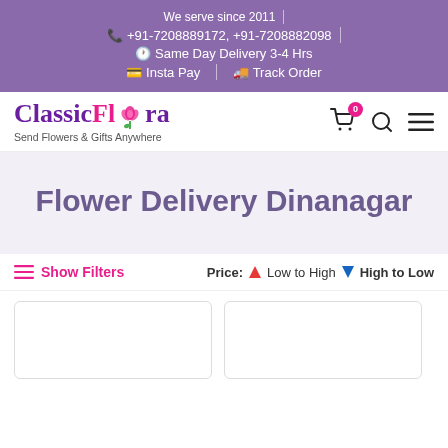We serve since 2011 | +91-7208889172, +91-7208882098 | Same Day Delivery 3-4 Hrs | Insta Pay | Track Order
[Figure (logo): ClassicFlora logo with rose icon, tagline: Send Flowers & Gifts Anywhere]
Flower Delivery Dinanagar
Show Filters  Price: Low to High  High to Low
[Figure (photo): Product card placeholder 1]
[Figure (photo): Product card placeholder 2]